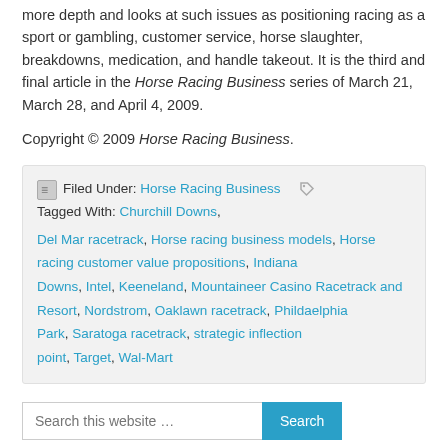more depth and looks at such issues as positioning racing as a sport or gambling, customer service, horse slaughter, breakdowns, medication, and handle takeout. It is the third and final article in the Horse Racing Business series of March 21, March 28, and April 4, 2009.
Copyright © 2009 Horse Racing Business.
Filed Under: Horse Racing Business   Tagged With: Churchill Downs, Del Mar racetrack, Horse racing business models, Horse racing customer value propositions, Indiana Downs, Intel, Keeneland, Mountaineer Casino Racetrack and Resort, Nordstrom, Oaklawn racetrack, Phildaelphia Park, Saratoga racetrack, strategic inflection point, Target, Wal-Mart
Search this website …
Follow us on Twitter @HorseRacingBusi for latest updates!